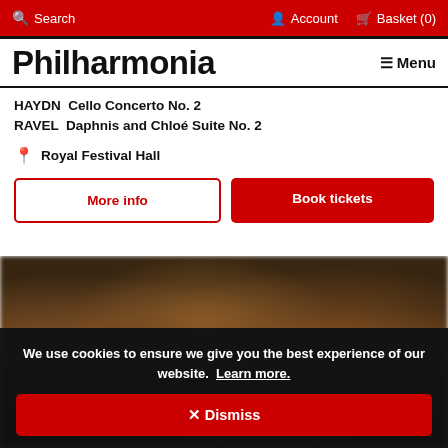Search  Account  Basket (0)
Philharmonia
HAYDN  Cello Concerto No. 2
RAVEL  Daphnis and Chloé Suite No. 2
Royal Festival Hall
More info
Book tickets
[Figure (photo): Blurred photo of orchestra musicians performing on stage with warm amber lighting]
We use cookies to ensure we give you the best experience of our website.  Learn more.
✕ Dismiss